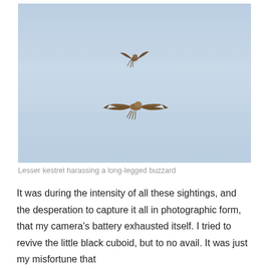[Figure (photo): Two birds of prey in flight against a pale blue sky. A smaller bird (lesser kestrel) is visible in the upper-center area, and a larger bird with wide spread wings (long-legged buzzard) is visible in the lower-center area.]
Lesser kestrel harassing a long-legged buzzard
It was during the intensity of all these sightings, and the desperation to capture it all in photographic form, that my camera's battery exhausted itself. I tried to revive the little black cuboid, but to no avail. It was just my misfortune that